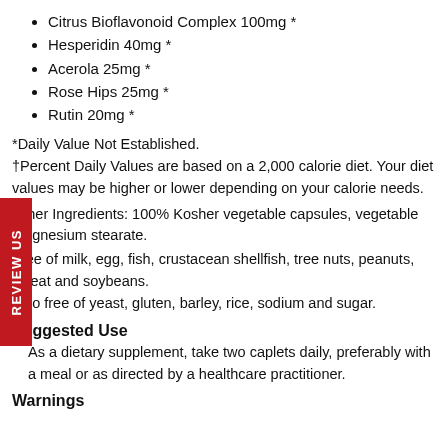Citrus Bioflavonoid Complex 100mg *
Hesperidin 40mg *
Acerola 25mg *
Rose Hips 25mg *
Rutin 20mg *
*Daily Value Not Established.
†Percent Daily Values are based on a 2,000 calorie diet. Your diet values may be higher or lower depending on your calorie needs.
Other Ingredients: 100% Kosher vegetable capsules, vegetable magnesium stearate.
Free of milk, egg, fish, crustacean shellfish, tree nuts, peanuts, wheat and soybeans.
Also free of yeast, gluten, barley, rice, sodium and sugar.
Suggested Use
As a dietary supplement, take two caplets daily, preferably with a meal or as directed by a healthcare practitioner.
Warnings